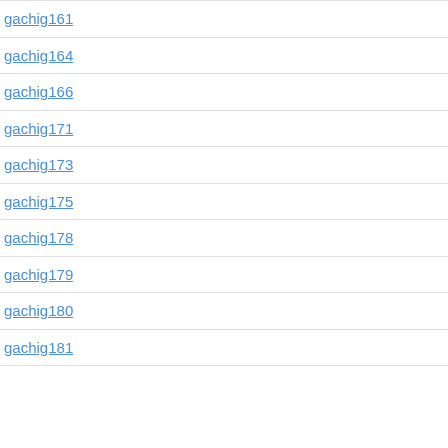gachig161
gachig164
gachig166
gachig171
gachig173
gachig175
gachig178
gachig179
gachig180
gachig181